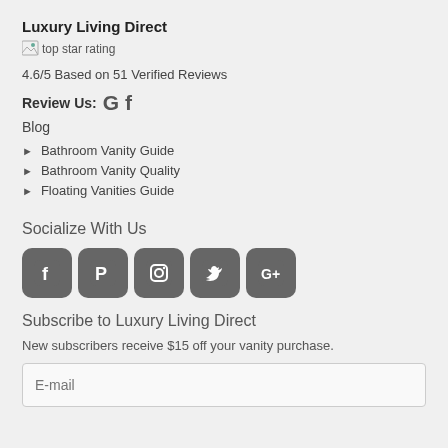Luxury Living Direct
[Figure (other): top star rating image]
4.6/5 Based on 51 Verified Reviews
Review Us: G f
Blog
Bathroom Vanity Guide
Bathroom Vanity Quality
Floating Vanities Guide
Socialize With Us
[Figure (other): Social media icons: Facebook, Pinterest, Instagram, Twitter, Google+]
Subscribe to Luxury Living Direct
New subscribers receive $15 off your vanity purchase.
E-mail